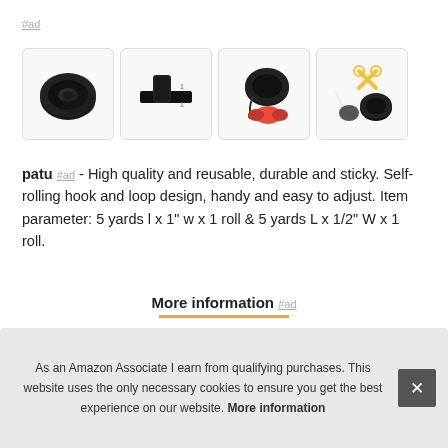#ad
[Figure (photo): Four product images of black velcro/hook-and-loop tape rolls and accessories]
patu #ad - High quality and reusable, durable and sticky. Self-rolling hook and loop design, handy and easy to adjust. Item parameter: 5 yards l x 1" w x 1 roll & 5 yards L x 1/2" W x 1 roll.
More information #ad
Mul... fitne... wire... tools...
As an Amazon Associate I earn from qualifying purchases. This website uses the only necessary cookies to ensure you get the best experience on our website. More information